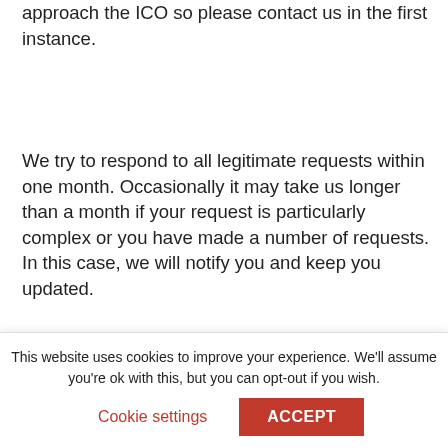approach the ICO so please contact us in the first instance.
We try to respond to all legitimate requests within one month. Occasionally it may take us longer than a month if your request is particularly complex or you have made a number of requests. In this case, we will notify you and keep you updated.
Legal obligations beyond GDPR
There may be certain circumstances in which we have a legal obligation, above and beyond the General Data Protection Regulation (GDPR), to control your data and share it with the police or relevant
This website uses cookies to improve your experience. We'll assume you're ok with this, but you can opt-out if you wish.